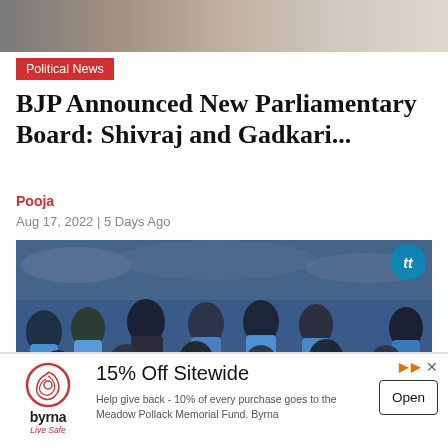[Figure (photo): Partial top image strip of people in background]
Political News
BJP Announced New Parliamentary Board: Shivraj and Gadkari...
Pooja
Aug 17, 2022 | 5 Days Ago
[Figure (photo): Indian national football team players posing for a group photo in blue jerseys]
15% Off Sitewide
Help give back - 10% of every purchase goes to the Meadow Pollack Memorial Fund. Byrna
Open